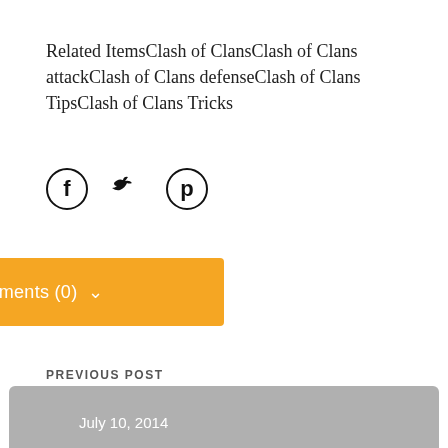Related ItemsClash of ClansClash of Clans attackClash of Clans defenseClash of Clans TipsClash of Clans Tricks
[Figure (infographic): Social share icons: Facebook (circle with f), Twitter (bird), Pinterest (circle with p)]
View Comments (0)
PREVIOUS POST
July 10, 2014
ARCHIVES